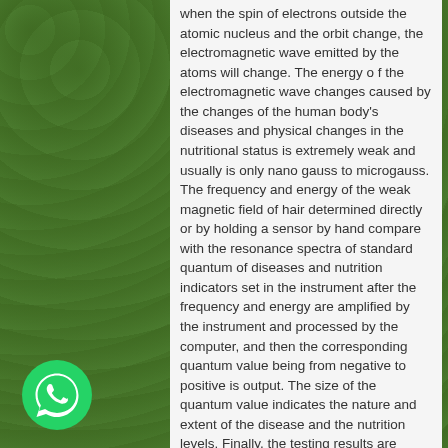when the spin of electrons outside the atomic nucleus and the orbit change, the electromagnetic wave emitted by the atoms will change. The energy o f the electromagnetic wave changes caused by the changes of the human body's diseases and physical changes in the nutritional status is extremely weak and usually is only nano gauss to microgauss. The frequency and energy of the weak magnetic field of hair determined directly or by holding a sensor by hand compare with the resonance spectra of standard quantum of diseases and nutrition indicators set in the instrument after the frequency and energy are amplified by the instrument and processed by the computer, and then the corresponding quantum value being from negative to positive is output. The size of the quantum value indicates the nature and extent of the disease and the nutrition levels. Finally, the testing results are resolved by clinicians. For example, cancer cells are different from normal cells, and the electromagnetic waves emitted by cancer cells are also different from the electromagnetic waves emitted by normal cells. Quantum resonance testing tumor is to send the standard wave of cancer cells to the specimen. If there are cancer cells in the human body, resonance
[Figure (logo): WhatsApp logo — green circle with white telephone handset icon]